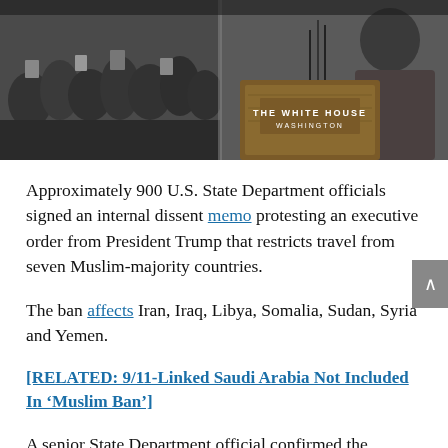[Figure (photo): Photo showing a crowd of people protesting on the left, and a man in a suit speaking at a White House podium on the right. The podium displays 'THE WHITE HOUSE WASHINGTON'.]
Approximately 900 U.S. State Department officials signed an internal dissent memo protesting an executive order from President Trump that restricts travel from seven Muslim-majority countries.
The ban affects Iran, Iraq, Libya, Somalia, Sudan, Syria and Yemen.
[RELATED: 9/11-Linked Saudi Arabia Not Included In ‘Muslim Ban’]
A senior State Department official confirmed the memorandum had been submitted to acting Secretary of State Tom Shannon through the department’s